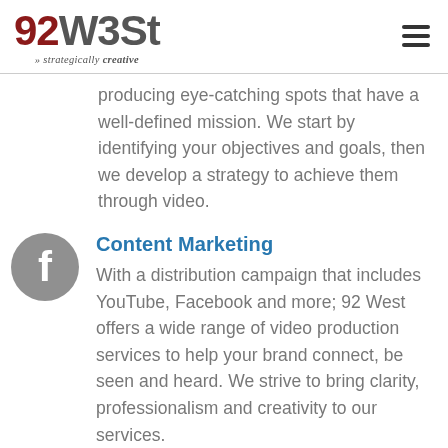92 WEST - strategically creative
producing eye-catching spots that have a well-defined mission. We start by identifying your objectives and goals, then we develop a strategy to achieve them through video.
[Figure (illustration): Grey circle icon with letter f (Facebook logo)]
Content Marketing
With a distribution campaign that includes YouTube, Facebook and more; 92 West offers a wide range of video production services to help your brand connect, be seen and heard. We strive to bring clarity, professionalism and creativity to our services.
[Figure (illustration): Grey circle icon partially visible at bottom]
Promotional / Product Video